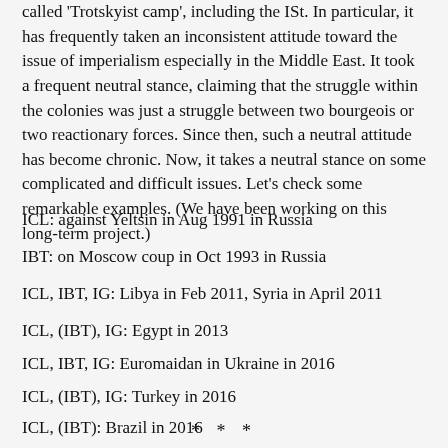called 'Trotskyist camp', including the ISt. In particular, it has frequently taken an inconsistent attitude toward the issue of imperialism especially in the Middle East. It took a frequent neutral stance, claiming that the struggle within the colonies was just a struggle between two bourgeois or two reactionary forces. Since then, such a neutral attitude has become chronic. Now, it takes a neutral stance on some complicated and difficult issues. Let's check some remarkable examples. (We have been working on this long-term project.)
ICL: against Yeltsin in Aug 1991 in Russia
IBT: on Moscow coup in Oct 1993 in Russia
ICL, IBT, IG: Libya in Feb 2011, Syria in April 2011
ICL, (IBT), IG: Egypt in 2013
ICL, IBT, IG: Euromaidan in Ukraine in 2016
ICL, (IBT), IG: Turkey in 2016
ICL, (IBT): Brazil in 2016
* * *